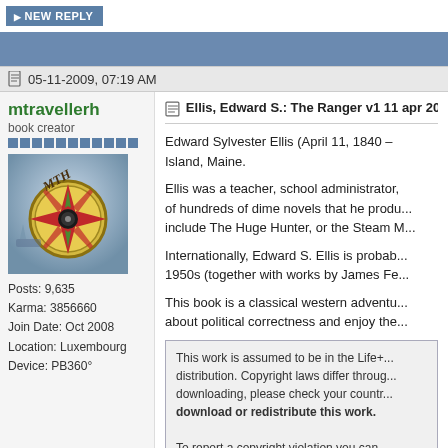NEW REPLY
05-11-2009, 07:19 AM
mtravellerh
book creator
[Figure (photo): Compass rose avatar image with red and gold design]
Posts: 9,635
Karma: 3856660
Join Date: Oct 2008
Location: Luxembourg
Device: PB360°
Ellis, Edward S.: The Ranger v1 11 apr 20...
Edward Sylvester Ellis (April 11, 1840 – Island, Maine.
Ellis was a teacher, school administrator, of hundreds of dime novels that he produ... include The Huge Hunter, or the Steam M...
Internationally, Edward S. Ellis is probab... 1950s (together with works by James Fe...
This book is a classical western adventu... about political correctness and enjoy the...
This work is assumed to be in the Life+... distribution. Copyright laws differ throug... downloading, please check your countr... download or redistribute this work.

To report a copyright violation you can...